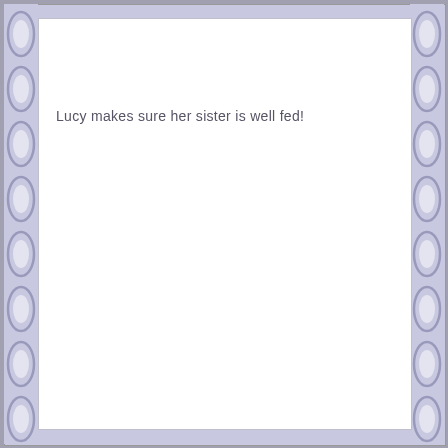Lucy makes sure her sister is well fed!